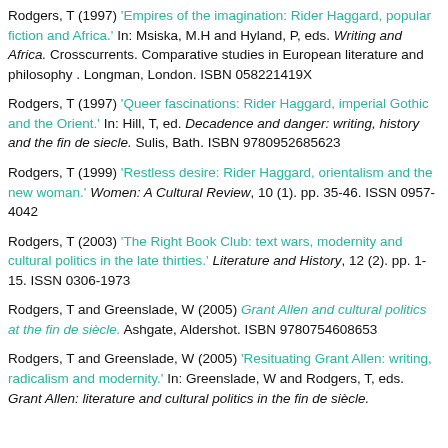Rodgers, T (1997) 'Empires of the imagination: Rider Haggard, popular fiction and Africa.' In: Msiska, M.H and Hyland, P, eds. Writing and Africa. Crosscurrents. Comparative studies in European literature and philosophy . Longman, London. ISBN 058221419X
Rodgers, T (1997) 'Queer fascinations: Rider Haggard, imperial Gothic and the Orient.' In: Hill, T, ed. Decadence and danger: writing, history and the fin de siecle. Sulis, Bath. ISBN 9780952685623
Rodgers, T (1999) 'Restless desire: Rider Haggard, orientalism and the new woman.' Women: A Cultural Review, 10 (1). pp. 35-46. ISSN 0957-4042
Rodgers, T (2003) 'The Right Book Club: text wars, modernity and cultural politics in the late thirties.' Literature and History, 12 (2). pp. 1-15. ISSN 0306-1973
Rodgers, T and Greenslade, W (2005) Grant Allen and cultural politics at the fin de siècle. Ashgate, Aldershot. ISBN 9780754608653
Rodgers, T and Greenslade, W (2005) 'Resituating Grant Allen: writing, radicalism and modernity.' In: Greenslade, W and Rodgers, T, eds. Grant Allen: literature and cultural politics in the fin de siècle.